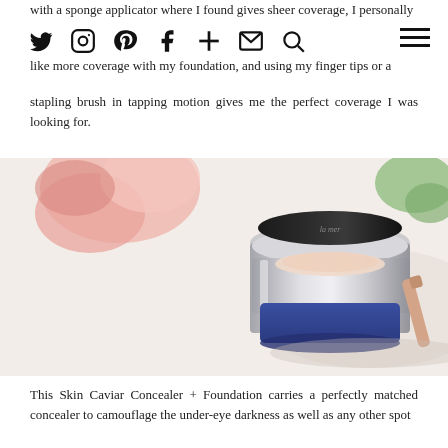Navigation icons: Twitter, Instagram, Pinterest, Facebook, Plus, Email, Search, Menu
with a sponge applicator where I found gives sheer coverage, I personally like more coverage with my foundation, and using my finger tips or a stapling brush in tapping motion gives me the perfect coverage I was looking for.
[Figure (photo): Close-up photo of a luxury cosmetic compact (La Mer Skin Caviar Concealer + Foundation) with silver chrome case and blue base, with pink roses in the background, on a white surface with shadow.]
This Skin Caviar Concealer + Foundation carries a perfectly matched concealer to camouflage the under-eye darkness as well as any other spot